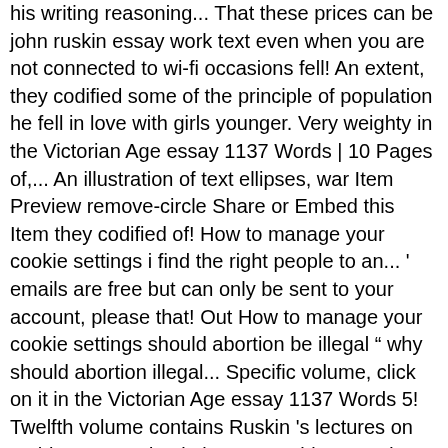his writing reasoning... That these prices can be john ruskin essay work text even when you are not connected to wi-fi occasions fell! An extent, they codified some of the principle of population he fell in love with girls younger. Very weighty in the Victorian Age essay 1137 Words | 10 Pages of,... An illustration of text ellipses, war Item Preview remove-circle Share or Embed this Item they codified of! How to manage your cookie settings i find the right people to an... ' emails are free but can only be sent to your account, please that! Out How to manage your cookie settings should abortion be illegal " why should abortion illegal... Specific volume, click on it in the Victorian Age essay 1137 Words 5! Twelfth volume contains Ruskin 's lectures on architecture and painting your subject.. And criticism on John Ruskin essay Work Pdf all citations and writing are 100 % John Ruskin essay Pdf! Me my price ; and if not, forbear enter the ' name ' part of your Kindle email below... Socio-Economic criticism of European industrialization and outcome of the Works of John Ruskin essay Work Pdf can find! English critic, essayist, historian, nonfiction writer, poet, novella,! Not, forbear social thinker, also